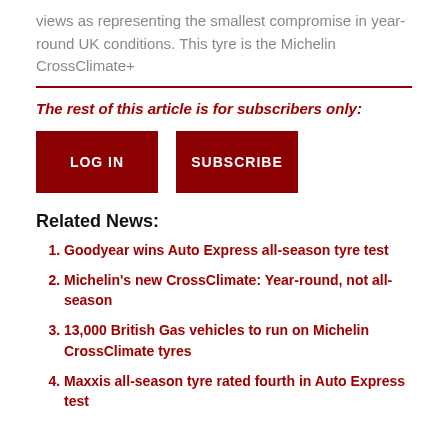views as representing the smallest compromise in year-round UK conditions. This tyre is the Michelin CrossClimate+
The rest of this article is for subscribers only:
[Figure (other): Two dark red buttons: LOG IN and SUBSCRIBE]
Related News:
Goodyear wins Auto Express all-season tyre test
Michelin's new CrossClimate: Year-round, not all-season
13,000 British Gas vehicles to run on Michelin CrossClimate tyres
Maxxis all-season tyre rated fourth in Auto Express test